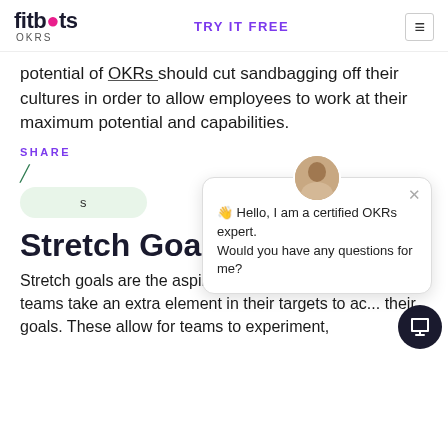fitbots OKRs | TRY IT FREE
potential of OKRs should cut sandbagging off their cultures in order to allow employees to work at their maximum potential and capabilities.
SHARE
[Figure (screenshot): Chat widget with certified OKRs expert avatar and message: Hello, I am a certified OKRs expert. Would you have any questions for me?]
S
Stretch Goal
Stretch goals are the aspirational part of OKRs where teams take an extra element in their targets to achieve their goals. These allow for teams to experiment,